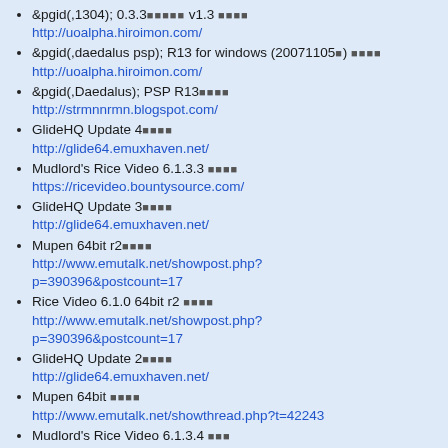&pgid(,1304); 0.3.3■■■■■ v1.3 ■■■■
http://uoalpha.hiroimon.com/
&pgid(,daedalus psp); R13 for windows (20071105■) ■■■■
http://uoalpha.hiroimon.com/
&pgid(,Daedalus); PSP R13■■■■
http://strmnnrmn.blogspot.com/
GlideHQ Update 4■■■■
http://glide64.emuxhaven.net/
Mudlord's Rice Video 6.1.3.3 ■■■■
https://ricevideo.bountysource.com/
GlideHQ Update 3■■■■
http://glide64.emuxhaven.net/
Mupen 64bit r2■■■■
http://www.emutalk.net/showpost.php?p=390396&postcount=17
Rice Video 6.1.0 64bit r2 ■■■■
http://www.emutalk.net/showpost.php?p=390396&postcount=17
GlideHQ Update 2■■■■
http://glide64.emuxhaven.net/
Mupen 64bit ■■■■
http://www.emutalk.net/showthread.php?t=42243
Mudlord's Rice Video 6.1.3.4 ■■■